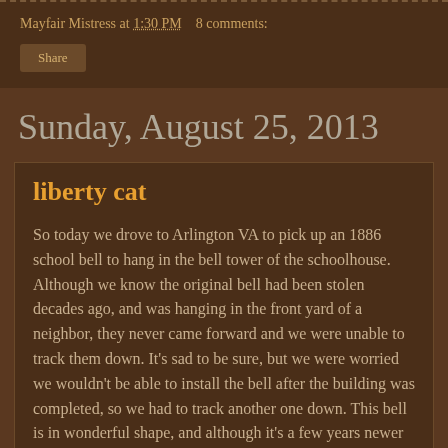Mayfair Mistress at 1:30 PM   8 comments:
Share
Sunday, August 25, 2013
liberty cat
So today we drove to Arlington VA to pick up an 1886 school bell to hang in the bell tower of the schoolhouse. Although we know the original bell had been stolen decades ago, and was hanging in the front yard of a neighbor, they never came forward and we were unable to track them down. It's sad to be sure, but we were worried we wouldn't be able to install the bell after the building was completed, so we had to track another one down. This bell is in wonderful shape, and although it's a few years newer than the school, which was built in 1875, it was cast the same year that our house was built in 1886. The family we purchased it from has some wonderful history with